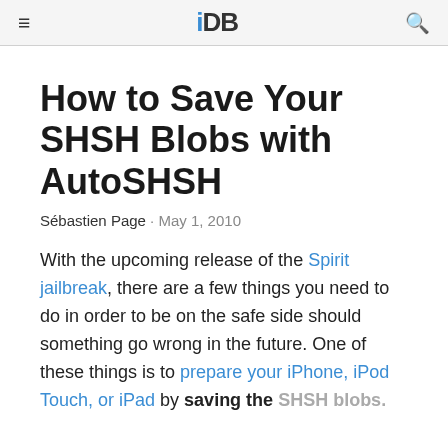iDB
How to Save Your SHSH Blobs with AutoSHSH
Sébastien Page · May 1, 2010
With the upcoming release of the Spirit jailbreak, there are a few things you need to do in order to be on the safe side should something go wrong in the future. One of these things is to prepare your iPhone, iPod Touch, or iPad by saving the SHSH blobs.